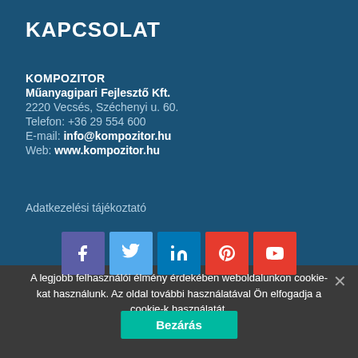KAPCSOLAT
KOMPOZITOR
Műanyagipari Fejlesztő Kft.
2220 Vecsés, Széchenyi u. 60.
Telefon: +36 29 554 600
E-mail: info@kompozitor.hu
Web: www.kompozitor.hu
Adatkezelési tájékoztató
[Figure (other): Social media icons row: Facebook (purple), Twitter (light blue), LinkedIn (blue), Pinterest (red), YouTube (red)]
A legjobb felhasználói élmény érdekében weboldalunkon cookie-kat használunk. Az oldal további használatával Ön elfogadja a cookie-k használatát.
Bezárás